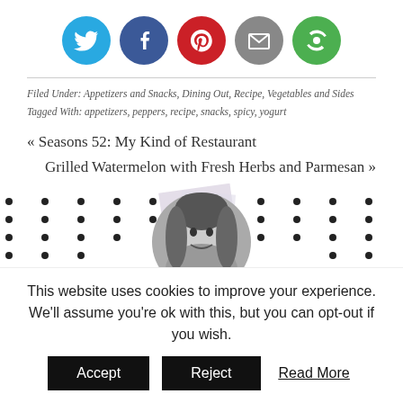[Figure (other): Row of 5 circular social media share icons: Twitter (blue bird), Facebook (blue f), Pinterest (red P), Email (grey envelope), Other/subscribe (green circular arrows)]
Filed Under: Appetizers and Snacks, Dining Out, Recipe, Vegetables and Sides
Tagged With: appetizers, peppers, recipe, snacks, spicy, yogurt
« Seasons 52: My Kind of Restaurant
Grilled Watermelon with Fresh Herbs and Parmesan »
[Figure (photo): Author photo: black and white circular portrait of a woman with long hair, surrounded by a decorative dot pattern background]
This website uses cookies to improve your experience. We'll assume you're ok with this, but you can opt-out if you wish.
Accept   Reject   Read More